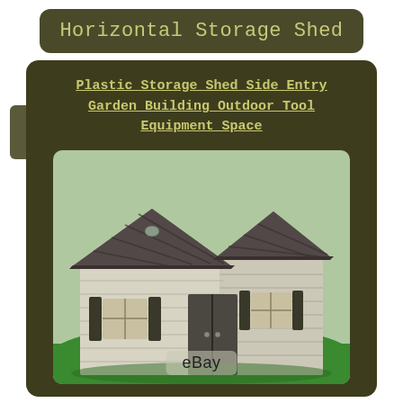Horizontal Storage Shed
Plastic Storage Shed Side Entry Garden Building Outdoor Tool Equipment Space
[Figure (photo): A large plastic horizontal storage shed with a shingled roof, double doors in the center, windows with shutters on either side, set on a green lawn. The shed is beige/tan with dark brown/charcoal accents.]
eBay